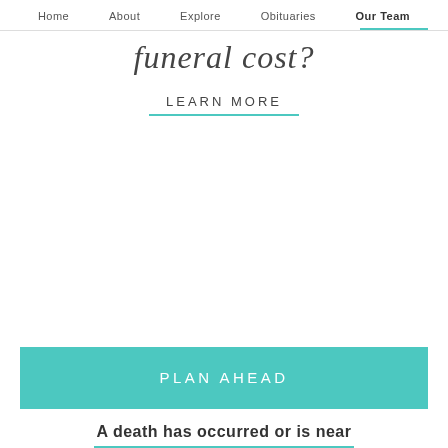Home   About   Explore   Obituaries   Our Team
funeral cost?
LEARN MORE
PLAN AHEAD
A death has occurred or is near